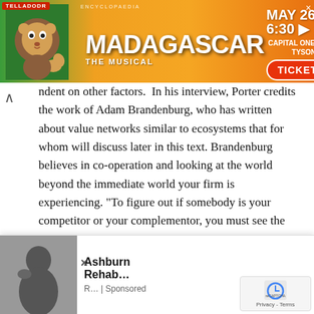[Figure (other): Madagascar The Musical advertisement banner. Shows a lion character on left, Madagascar The Musical title in center, and event details on right: MAY 26 · 6:30, CAPITAL ONE HALL, TYSONS - VA, with TICKETS button.]
ndent on other factors. In his interview, Porter credits the work of Adam Brandenburg, who has written about value networks similar to ecosystems that for whom will discuss later in this text. Brandenburg believes in co-operation and looking at the world beyond the immediate world your firm is experiencing. “To figure out if somebody is your competitor or your complementor, you must see the world from the customers’ and suppliers’ perspective. You must be allocentric — centred on others, rather than egocentric — self-centred.”
By limiting the application of the five forces model, Porter may be setting it up for not being the dominant shaper of managerial thinking in the future. The five forces model will be a tool that is valuable for analysing parts of a companies business, but not that ate strategy of a company. It wi a company needs to make whi Porter’s generic strategies into
[Figure (other): Bottom advertisement overlay: Ashburn Rehab... R... | Sponsored, with a person image on left, close X button, and a reCAPTCHA / Privacy - Terms badge on right.]